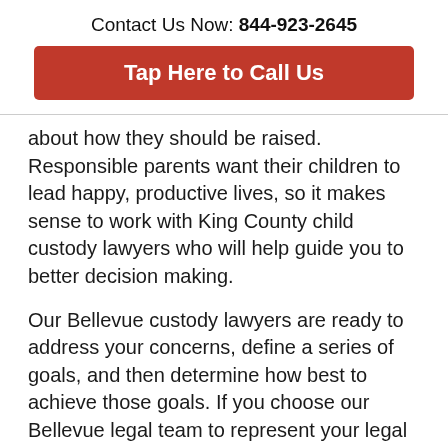Contact Us Now: 844-923-2645
[Figure (other): Red call-to-action button reading 'Tap Here to Call Us']
about how they should be raised. Responsible parents want their children to lead happy, productive lives, so it makes sense to work with King County child custody lawyers who will help guide you to better decision making.
Our Bellevue custody lawyers are ready to address your concerns, define a series of goals, and then determine how best to achieve those goals. If you choose our Bellevue legal team to represent your legal interests, we will be at your side throughout the most difficult parts of divorce negotiations. Our custody